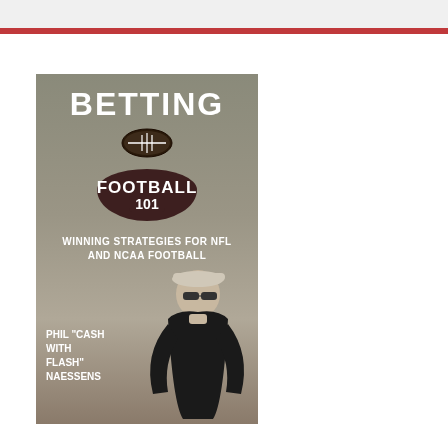[Figure (illustration): Book cover for 'Betting Football 101: Winning Strategies for NFL and NCAA Football' by Phil "Cash With Flash" Naessens. Dark brownish-gray background with white bold text for title, football badge graphic, subtitle text, and a photo of the author wearing a cap, sunglasses and black polo shirt.]
TENNIS IN A FLASH: 10 STEPS TO BETTER